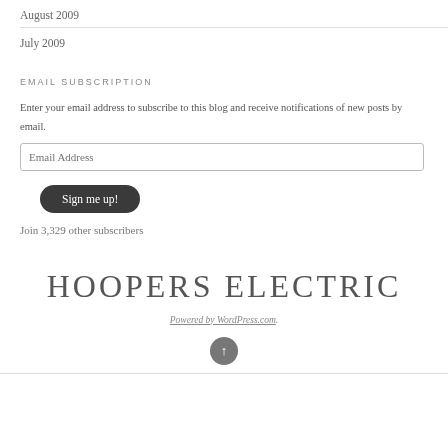August 2009
July 2009
EMAIL SUBSCRIPTION
Enter your email address to subscribe to this blog and receive notifications of new posts by email.
Email Address
Sign me up!
Join 3,329 other subscribers
HOOPERS ELECTRIC
Powered by WordPress.com.